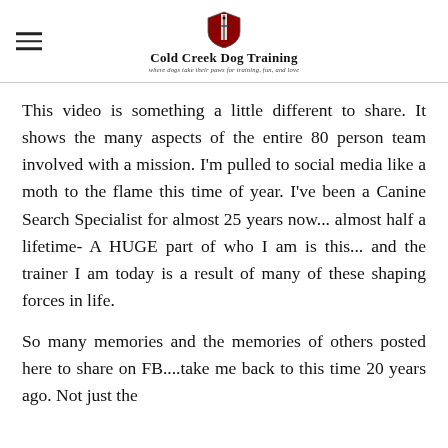Cold Creek Dog Training — where dogs take their paws for training, fun, and love
This video is something a little different to share. It shows the many aspects of the entire 80 person team involved with a mission. I'm pulled to social media like a moth to the flame this time of year. I've been a Canine Search Specialist for almost 25 years now... almost half a lifetime- A HUGE part of who I am is this... and the trainer I am today is a result of many of these shaping forces in life.
So many memories and the memories of others posted here to share on FB....take me back to this time 20 years ago. Not just the